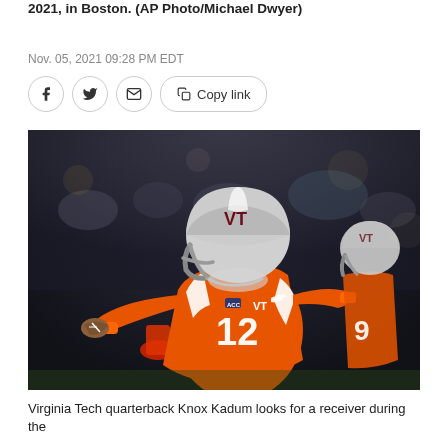2021, in Boston. (AP Photo/Michael Dwyer)
Nov. 05, 2021 09:28 PM EDT
[Figure (photo): Virginia Tech quarterback Knox Kadum in orange jersey number 12 with VT helmet, throwing a pass during a night game]
Virginia Tech quarterback Knox Kadum looks for a receiver during the